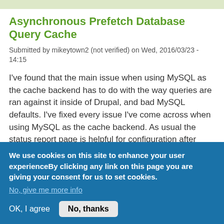Asynchronous Prefetch Database Query Cache
Submitted by mikeytown2 (not verified) on Wed, 2016/03/23 - 14:15
I've found that the main issue when using MySQL as the cache backend has to do with the way queries are ran against it inside of Drupal, and bad MySQL defaults. I've fixed every issue I've come across when using MySQL as the cache backend. As usual the status report page is helpful for configuration after installing this module - https://www.drupal.org/project/apdqc
We've had over 300 concurrent connections to MySQL
We use cookies on this site to enhance your user experienceBy clicking any link on this page you are giving your consent for us to set cookies.
No, give me more info
OK, I agree
No, thanks